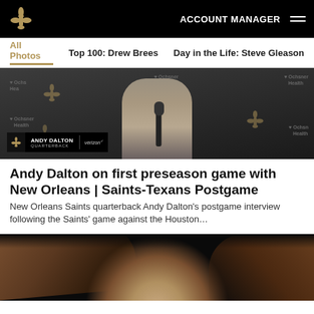New Orleans Saints — ACCOUNT MANAGER
All Photos | Top 100: Drew Brees | Day in the Life: Steve Gleason
[Figure (photo): Andy Dalton at press conference podium with Ochsner Health backdrop and lower-third graphic reading ANDY DALTON QUARTERBACK sponsored by Verizon]
Andy Dalton on first preseason game with New Orleans | Saints-Texans Postgame
New Orleans Saints quarterback Andy Dalton's postgame interview following the Saints' game against the Houston…
[Figure (photo): Close-up portrait of a woman with long brown hair against dark background]